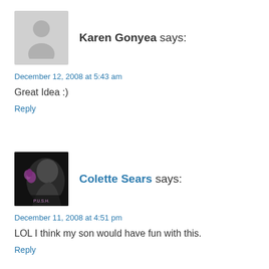[Figure (illustration): Gray placeholder avatar icon showing a generic person silhouette]
Karen Gonyea says:
December 12, 2008 at 5:43 am
Great Idea :)
Reply
[Figure (photo): Profile photo of Colette Sears showing a person with purple flower, black and white tones]
Colette Sears says:
December 11, 2008 at 4:51 pm
LOL I think my son would have fun with this.
Reply